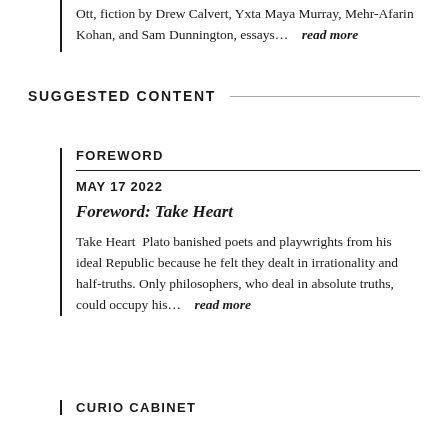Ott, fiction by Drew Calvert, Yxta Maya Murray, Mehr-Afarin Kohan, and Sam Dunnington, essays...   read more
SUGGESTED CONTENT
FOREWORD
MAY 17 2022
Foreword: Take Heart
Take Heart  Plato banished poets and playwrights from his ideal Republic because he felt they dealt in irrationality and half-truths. Only philosophers, who deal in absolute truths, could occupy his...   read more
CURIO CABINET